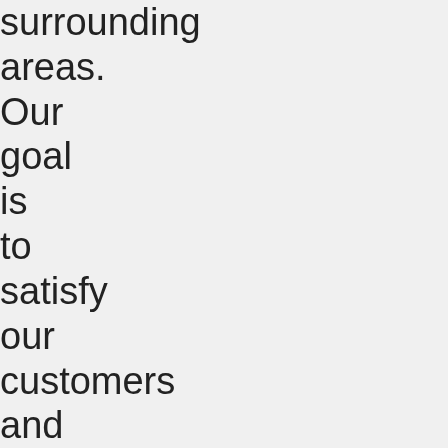surrounding areas. Our goal is to satisfy our customers and get you where you need to